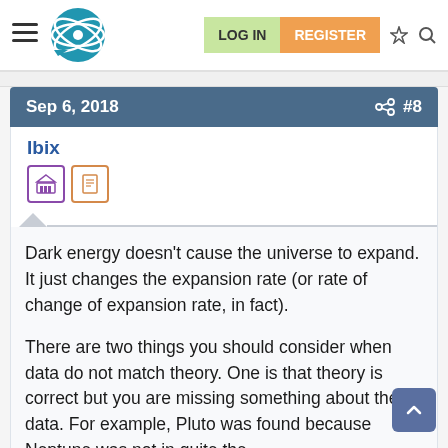LOG IN  REGISTER
Sep 6, 2018  #8
Ibix
Dark energy doesn't cause the universe to expand. It just changes the expansion rate (or rate of change of expansion rate, in fact).
There are two things you should consider when data do not match theory. One is that theory is correct but you are missing something about the data. For example, Pluto was found because Neptune was not in quite the